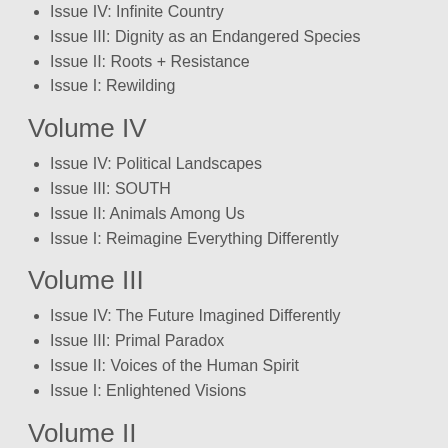Issue IV: Infinite Country
Issue III: Dignity as an Endangered Species
Issue II: Roots + Resistance
Issue I: Rewilding
Volume IV
Issue IV: Political Landscapes
Issue III: SOUTH
Issue II: Animals Among Us
Issue I: Reimagine Everything Differently
Volume III
Issue IV: The Future Imagined Differently
Issue III: Primal Paradox
Issue II: Voices of the Human Spirit
Issue I: Enlightened Visions
Volume II
Issue IV: 1963-2013: A Civil Rights Retrospective
Issue III: The Future of Water
Issue II: Earth, Spirit, Society